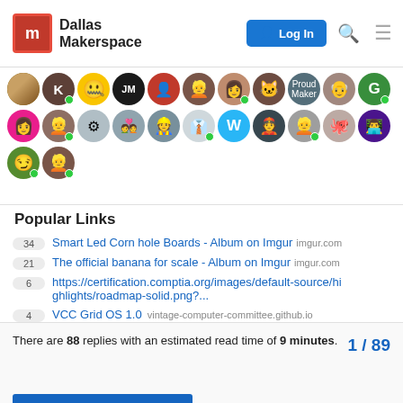Dallas Makerspace | Log In
[Figure (photo): Grid of user avatar profile pictures with green online status dots, two rows plus a partial third row]
Popular Links
34 Smart Led Corn hole Boards - Album on Imgur imgur.com
21 The official banana for scale - Album on Imgur imgur.com
6 https://certification.comptia.org/images/default-source/highlights/roadmap-solid.png?...
4 VCC Grid OS 1.0 vintage-computer-committee.github.io
1 WoodshopDustManagementSystem - Dallas Makerspace dallasmakerspace.org
There are 88 replies with an estimated read time of 9 minutes.
1 / 89